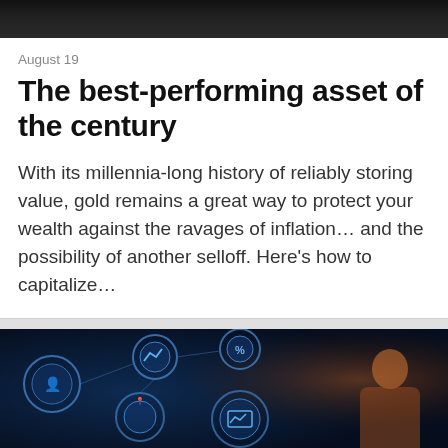[Figure (photo): Dark background image, appears to be a financial or editorial header image with dark tones]
August 19
The best-performing asset of the century
With its millennia-long history of reliably storing value, gold remains a great way to protect your wealth against the ravages of inflation… and the possibility of another selloff. Here's how to capitalize…
[Figure (photo): Technology/finance themed image showing a businessperson interacting with digital icons and network diagrams, dark blue and orange tones]